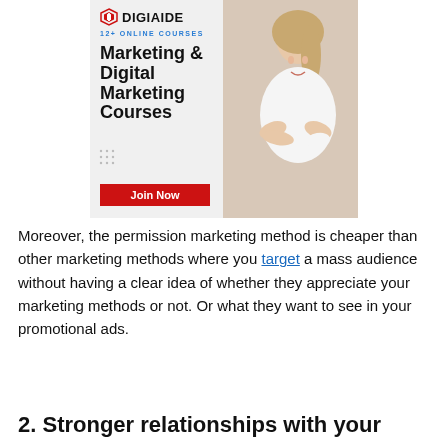[Figure (illustration): DigiAide advertisement banner featuring a blond woman with arms crossed, promoting Marketing & Digital Marketing Courses with a 'Join Now' button and '12+ Online Courses' tagline]
Moreover, the permission marketing method is cheaper than other marketing methods where you target a mass audience without having a clear idea of whether they appreciate your marketing methods or not. Or what they want to see in your promotional ads.
2. Stronger relationships with your